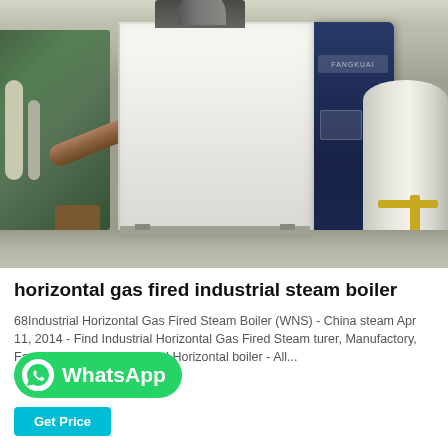[Figure (photo): Photograph of a horizontal gas fired industrial steam boiler (WNS type) in a factory/warehouse setting. The boiler has a large white/cream rectangular body with a dark navy blue accent panel on the right side. Industrial piping and machinery visible in the background on the left, a cylindrical white tank on the right. Brown/gray pipes lean against the boiler on the factory floor.]
horizontal gas fired industrial steam boiler
68Industrial Horizontal Gas Fired Steam Boiler (WNS) - China steam Apr 11, 2014 - Find Industrial Horizontal Gas Fired Steam turer, Manufactory, Factory and i Boiler Co., Ltd.Horizontal boiler - All...